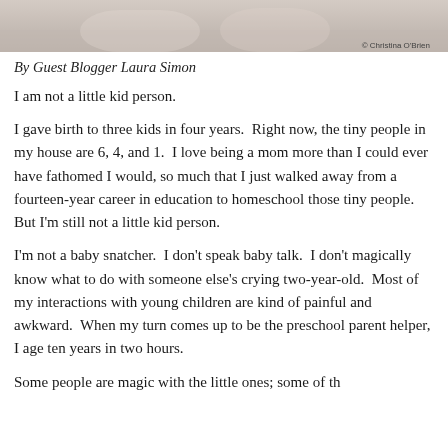[Figure (photo): Close-up photo of babies/young children, partially cropped at top of page. Photo credit: © Christina [last name partially visible]]
By Guest Blogger Laura Simon
I am not a little kid person.
I gave birth to three kids in four years.  Right now, the tiny people in my house are 6, 4, and 1.  I love being a mom more than I could ever have fathomed I would, so much that I just walked away from a fourteen-year career in education to homeschool those tiny people.  But I'm still not a little kid person.
I'm not a baby snatcher.  I don't speak baby talk.  I don't magically know what to do with someone else's crying two-year-old.  Most of my interactions with young children are kind of painful and awkward.  When my turn comes up to be the preschool parent helper, I age ten years in two hours.
Some people are magic with the little ones; some of the…